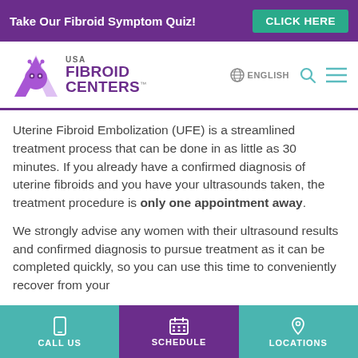Take Our Fibroid Symptom Quiz! CLICK HERE
[Figure (logo): USA Fibroid Centers logo with purple butterfly/uterus icon and text. Navigation bar with ENGLISH, search icon, and menu icon.]
Uterine Fibroid Embolization (UFE) is a streamlined treatment process that can be done in as little as 30 minutes. If you already have a confirmed diagnosis of uterine fibroids and you have your ultrasounds taken, the treatment procedure is only one appointment away.
We strongly advise any women with their ultrasound results and confirmed diagnosis to pursue treatment as it can be completed quickly, so you can use this time to conveniently recover from your
CALL US   SCHEDULE   LOCATIONS